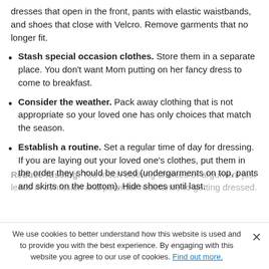dresses that open in the front, pants with elastic waistbands, and shoes that close with Velcro. Remove garments that no longer fit.
Stash special occasion clothes. Store them in a separate place. You don't want Mom putting on her fancy dress to come to breakfast.
Consider the weather. Pack away clothing that is not appropriate so your loved one has only choices that match the season.
Establish a routine. Set a regular time of day for dressing. If you are laying out your loved one's clothes, put them in the order they should be used (undergarments on top, pants and skirts on the bottom). Hide shoes until last.
Reduce fussing. Too much clothing choices or argument just leads in confusion and potential resistance to getting dressed.
We use cookies to better understand how this website is used and to provide you with the best experience. By engaging with this website you agree to our use of cookies. Find out more.